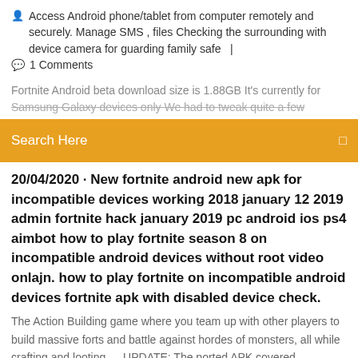Access Android phone/tablet from computer remotely and securely. Manage SMS , files Checking the surrounding with device camera for guarding family safe   |
1 Comments
Fortnite Android beta download size is 1.88GB It's currently for Samsung Galaxy devices only We had to tweak quite a few
Search Here
20/04/2020 · New fortnite android new apk for incompatible devices working 2018 january 12 2019 admin fortnite hack january 2019 pc android ios ps4 aimbot how to play fortnite season 8 on incompatible android devices without root video onlajn. how to play fortnite on incompatible android devices fortnite apk with disabled device check.
The Action Building game where you team up with other players to build massive forts and battle against hordes of monsters, all while crafting and looting … UPDATE: The ported APK covered